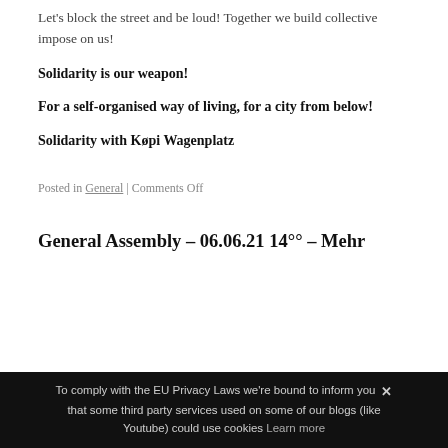Let's block the street and be loud! Together we build collective impose on us!
Solidarity is our weapon!
For a self-organised way of living, for a city from below!
Solidarity with Køpi Wagenplatz
Posted in General | Comments Off
General Assembly – 06.06.21 14°° – Mehr
To comply with the EU Privacy Laws we're bound to inform you that some third party services used on some of our blogs (like Youtube) could use cookies Learn more